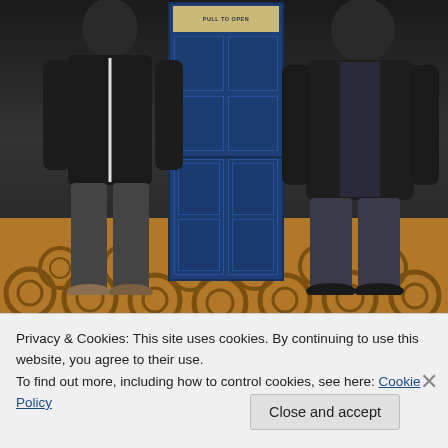[Figure (photo): Two people standing in front of a blue TARDIS (Doctor Who police box) prop. The person on the left wears a black hoodie and dark jeans. The person on the right wears a dark jacket and jeans. The floor has a decorative carpet with circular patterns. A sign reading 'PULL TO OPEN' is visible on the TARDIS.]
Privacy & Cookies: This site uses cookies. By continuing to use this website, you agree to their use.
To find out more, including how to control cookies, see here: Cookie Policy